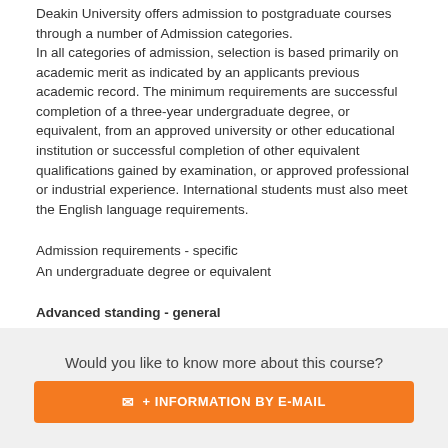Deakin University offers admission to postgraduate courses through a number of Admission categories. In all categories of admission, selection is based primarily on academic merit as indicated by an applicants previous academic record. The minimum requirements are successful completion of a three-year undergraduate degree, or equivalent, from an approved university or other educational institution or successful completion of other equivalent qualifications gained by examination, or approved professional or industrial experience. International students must also meet the English language requirements.
Admission requirements - specific
An undergraduate degree or equivalent
Advanced standing - general
Would you like to know more about this course?
+ INFORMATION BY E-MAIL